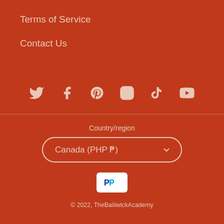Terms of Service
Contact Us
[Figure (infographic): Social media icons row: Twitter, Facebook, Pinterest, Instagram, TikTok, YouTube]
Country/region
Canada (PHP ₱)
[Figure (logo): PayPal logo on white rounded rectangle]
© 2022, TheBailiwickAcademy